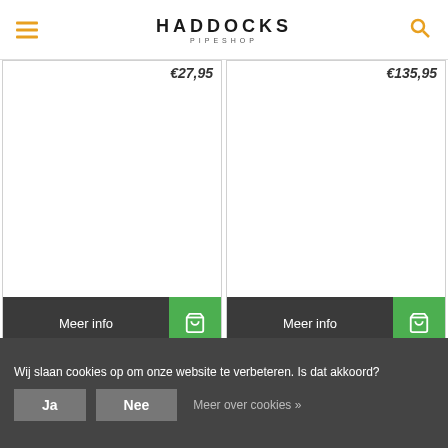HADDOCKS PIPESHOP
[Figure (screenshot): Two product cards with price labels and Meer info / cart buttons]
Blijf op de hoogte van het laatste nieuws
Verstuur
Wij slaan cookies op om onze website te verbeteren. Is dat akkoord?
Ja
Nee
Meer over cookies »